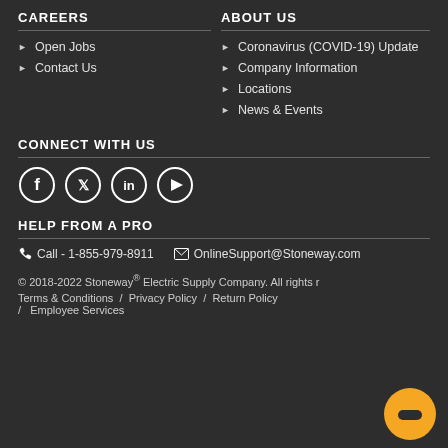CAREERS
Open Jobs
Contact Us
ABOUT US
Coronavirus (COVID-19) Update
Company Information
Locations
News & Events
CONNECT WITH US
[Figure (illustration): Social media icons: Facebook, Twitter, LinkedIn, YouTube]
HELP FROM A PRO
Call - 1-855-979-8911
OnlineSupport@Stoneway.com
© 2018-2022 Stoneway® Electric Supply Company. All rights r
Terms & Conditions / Privacy Policy / Return Policy / Employee Services